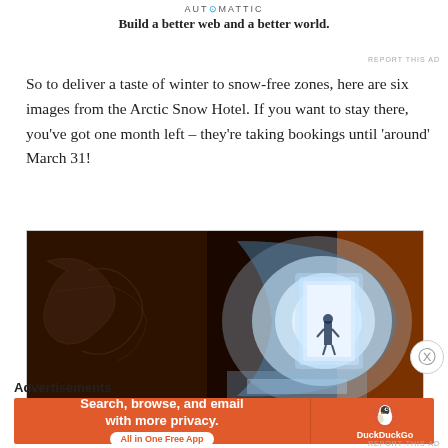AUTOMATTIC
Build a better web and a better world.
So to deliver a taste of winter to snow-free zones, here are six images from the Arctic Snow Hotel. If you want to stay there, you've got one month left – they're taking bookings until 'around' March 31!
[Figure (photo): Interior photo of the Arctic Snow Hotel showing a glowing blue ice tunnel hallway with a silhouette of a person standing in the doorway, surrounded by snow/ice walls with carved artwork]
Advertisements
[Figure (infographic): DuckDuckGo advertisement banner: orange background with text 'Search, browse, and email with more privacy. All in One Free App' with DuckDuckGo duck logo on the right side]